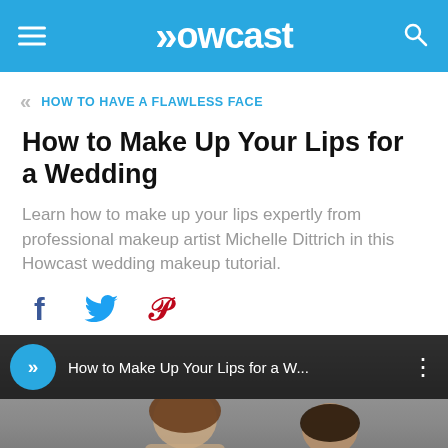Howcast
« HOW TO HAVE A FLAWLESS FACE
How to Make Up Your Lips for a Wedding
Learn how to make up your lips expertly from professional makeup artist Michelle Dittrich in this Howcast wedding makeup tutorial.
[Figure (screenshot): Social sharing icons: Facebook (blue f), Twitter (blue bird), Pinterest (red P)]
[Figure (screenshot): Video thumbnail showing Howcast logo circle with title 'How to Make Up Your Lips for a W...' and two women in the background video preview]